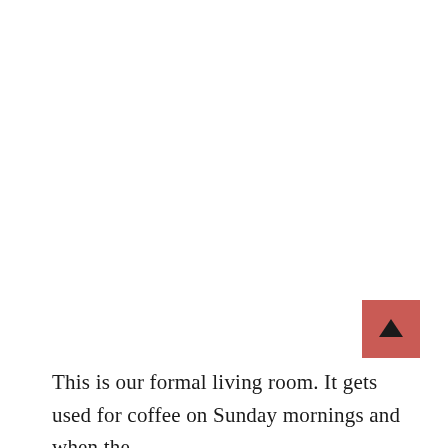[Figure (other): Red square button with an upward arrow icon, positioned in the lower-right area of the page.]
This is our formal living room. It gets used for coffee on Sunday mornings and when the